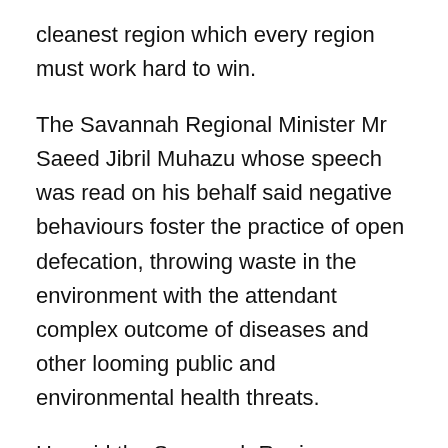cleanest region which every region must work hard to win.
The Savannah Regional Minister Mr Saeed Jibril Muhazu whose speech was read on his behalf said negative behaviours foster the practice of open defecation, throwing waste in the environment with the attendant complex outcome of diseases and other looming public and environmental health threats.
He said the Savannah Region Coordinating Council is leaving no stone unturned in order to building strong partnership to harness resources to improve the sanitation situations in the region and